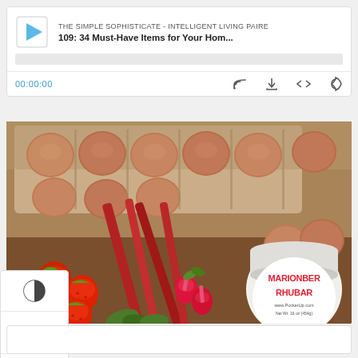[Figure (screenshot): Podcast player widget showing 'THE SIMPLE SOPHISTICATE - INTELLIGENT LIVING PAIRE' with episode '109: 34 Must-Have Items for Your Hom...' and playback controls including time 00:00:00, cast, download, embed, and share icons]
[Figure (photo): Photograph of farm-fresh produce: eggs in carton, rhubarb stalks, strawberries, radishes, and a jar of Marionberry Rhubarb jam on a wooden surface]
[Figure (screenshot): Left sidebar with three accessibility/reader icons: contrast toggle, text size, and upload/top icon]
[Figure (screenshot): Empty white content box at the bottom of the page]